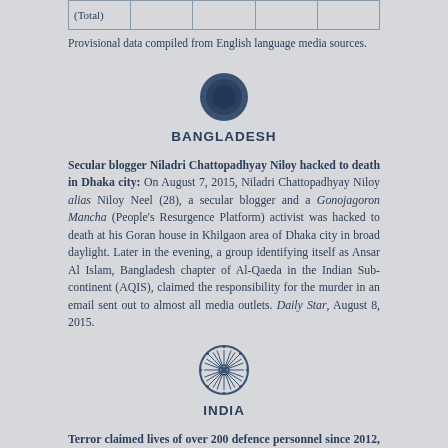| (Total) |  |  |  |  |
| --- | --- | --- | --- | --- |
|   |   |   |   |   |
Provisional data compiled from English language media sources.
[Figure (illustration): Dark blue circle icon representing Bangladesh]
BANGLADESH
Secular blogger Niladri Chattopadhyay Niloy hacked to death in Dhaka city: On August 7, 2015, Niladri Chattopadhyay Niloy alias Niloy Neel (28), a secular blogger and a Gonojagoron Mancha (People's Resurgence Platform) activist was hacked to death at his Goran house in Khilgaon area of Dhaka city in broad daylight. Later in the evening, a group identifying itself as Ansar Al Islam, Bangladesh chapter of Al-Qaeda in the Indian Sub-continent (AQIS), claimed the responsibility for the murder in an email sent out to almost all media outlets. Daily Star, August 8, 2015.
[Figure (illustration): India emblem/Ashoka Chakra wheel icon]
INDIA
Terror claimed lives of over 200 defence personnel since 2012, says Defence Minister Manohar Parrikar: Defence Minister Manohar Parrikar, in a written reply in Lok Sabha (lower house of Parliament), said that over 200 defence personnel have been killed due to insurgency, terrorism and cross border firing in the country since 2012. Parrikar